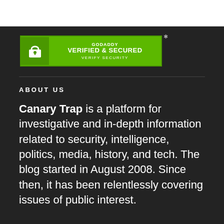[Figure (logo): GoDaddy Verified & Secured badge with padlock icon and 'VERIFY SECURITY' text below]
ABOUT US
Canary Trap is a platform for investigative and in-depth information related to security, intelligence, politics, media, history, and tech. The blog started in August 2008. Since then, it has been relentlessly covering issues of public interest.